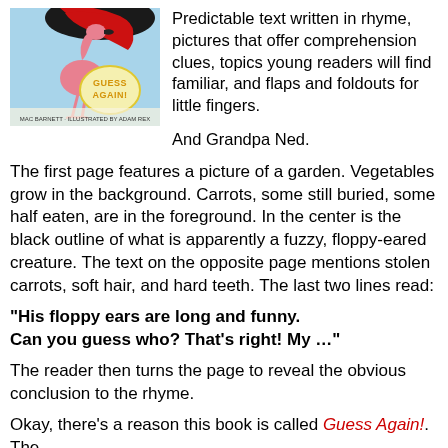[Figure (photo): Book cover of 'Guess Again!' by Mac Barnett, illustrated by Adam Rex, showing a flamingo with a red swirl shape against a light blue background, with yellow egg-shaped logo reading 'GUESS AGAIN!']
Predictable text written in rhyme, pictures that offer comprehension clues, topics young readers will find familiar, and flaps and foldouts for little fingers.

And Grandpa Ned.
The first page features a picture of a garden. Vegetables grow in the background. Carrots, some still buried, some half eaten, are in the foreground. In the center is the black outline of what is apparently a fuzzy, floppy-eared creature. The text on the opposite page mentions stolen carrots, soft hair, and hard teeth. The last two lines read:
“His floppy ears are long and funny.
Can you guess who? That’s right! My …”
The reader then turns the page to reveal the obvious conclusion to the rhyme.
Okay, there’s a reason this book is called Guess Again!. The